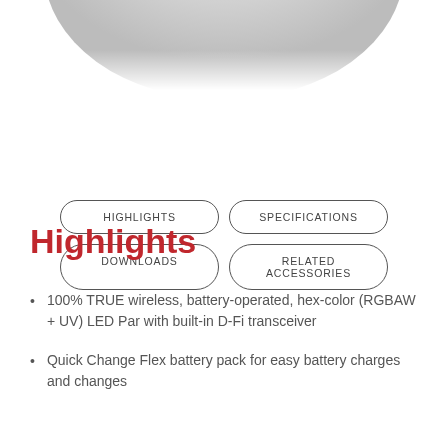[Figure (photo): Partial view of a circular lighting product at the top of the page, gray gradient background]
HIGHLIGHTS
SPECIFICATIONS
DOWNLOADS
RELATED ACCESSORIES
Highlights
100% TRUE wireless, battery-operated, hex-color (RGBAW + UV) LED Par with built-in D-Fi transceiver
Quick Change Flex battery pack for easy battery charges and changes